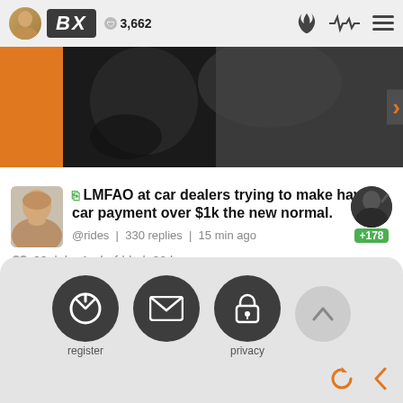BX | 3,662
[Figure (photo): Hero image showing a hand and car-related dark background with orange accent, with a right navigation arrow]
[Figure (photo): Social media post with bald man avatar, TV icon, post text about car dealers and car payments over $1k, @rides channel, 330 replies, 15 min ago, 29 group members by Andrefrbk 20 hr, with reaction avatar showing +178]
🖥 LMFAO at car dealers trying to make having car payment over $1k the new normal.
@rides  |  330 replies  |  15 min ago
29  |  by Andrefrbk  |  20 hr
register | (envelope icon) | privacy | ^ | refresh | <